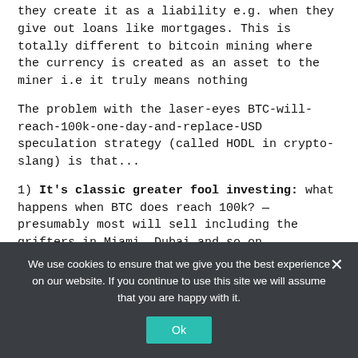they create it as a liability e.g. when they give out loans like mortgages. This is totally different to bitcoin mining where the currency is created as an asset to the miner i.e it truly means nothing
The problem with the laser-eyes BTC-will-reach-100k-one-day-and-replace-USD speculation strategy (called HODL in crypto-slang) is that...
1) It's classic greater fool investing: what happens when BTC does reach 100k? — presumably most will sell including the grifters in Miami, Dubai and so on.
2) No one spends BTC: the actual 'users' of BTC are few and far between — they are the ones that bought (what
We use cookies to ensure that we give you the best experience on our website. If you continue to use this site we will assume that you are happy with it.